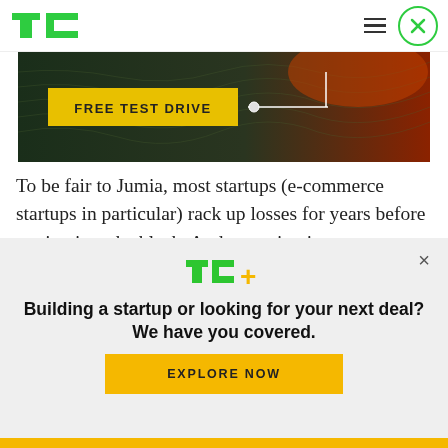TechCrunch header with logo, hamburger menu, and close button
[Figure (screenshot): Dark promotional banner with green/orange gradient background and a yellow button labeled FREE TEST DRIVE with a white geometric line design]
To be fair to Jumia, most startups (e-commerce startups in particular) rack up losses for years before getting into the black. And operating in a
[Figure (infographic): TechCrunch TC+ subscription popup overlay with headline 'Building a startup or looking for your next deal? We have you covered.' and an EXPLORE NOW button]
Yellow bottom bar footer